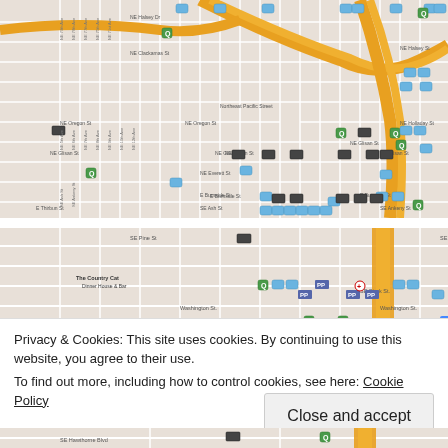[Figure (map): Street map of Northeast/Southeast Portland Oregon showing transit markers, bus stops, street car icons, and various transit-related pins on a city grid with orange highway lines]
[Figure (map): Zoomed-in street map of SE Portland near SE Pine St, SE Stark St, SE Washington St showing transit markers and The Country Cat Dinner House & Bar location]
Privacy & Cookies: This site uses cookies. By continuing to use this website, you agree to their use.
To find out more, including how to control cookies, see here: Cookie Policy
Close and accept
[Figure (map): Bottom partial map showing SE Hawthorne Blvd area with transit markers]